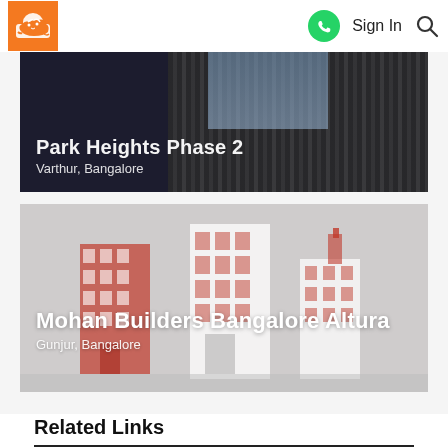Sign In
[Figure (photo): Partially visible card showing apartment building image with text overlay reading a property name and 'Varthur, Bangalore']
[Figure (illustration): Property card for Mohan Builders Bangalore Altura showing illustrated red and white buildings on gray background]
Related Links
ND Pentos
ND
Carmelaram